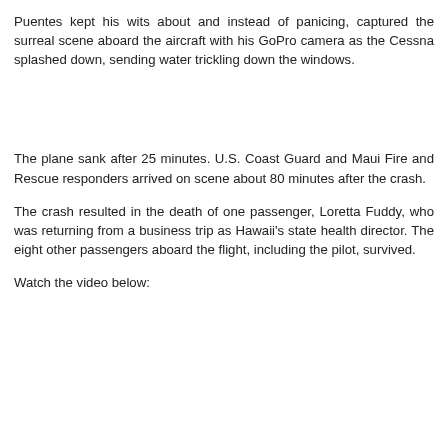Puentes kept his wits about and instead of panicing, captured the surreal scene aboard the aircraft with his GoPro camera as the Cessna splashed down, sending water trickling down the windows.
The plane sank after 25 minutes. U.S. Coast Guard and Maui Fire and Rescue responders arrived on scene about 80 minutes after the crash.
The crash resulted in the death of one passenger, Loretta Fuddy, who was returning from a business trip as Hawaii's state health director. The eight other passengers aboard the flight, including the pilot, survived.
Watch the video below: